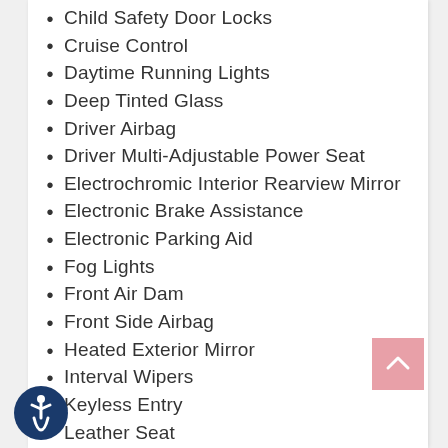Child Safety Door Locks
Cruise Control
Daytime Running Lights
Deep Tinted Glass
Driver Airbag
Driver Multi-Adjustable Power Seat
Electrochromic Interior Rearview Mirror
Electronic Brake Assistance
Electronic Parking Aid
Fog Lights
Front Air Dam
Front Side Airbag
Heated Exterior Mirror
Interval Wipers
Keyless Entry
Leather Seat
Leather Steering Wheel
Passenger Airbag
Power Adjustable Exterior Mirror